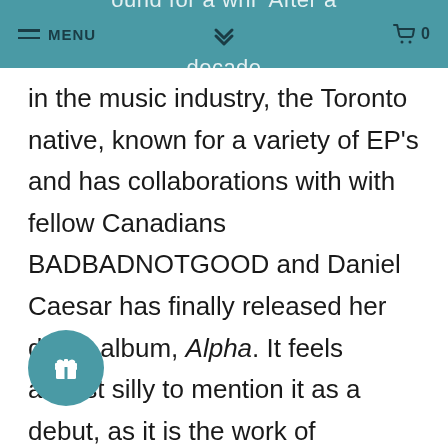ound for a whi After a decade MENU 0
in the music industry, the Toronto native, known for a variety of EP’s and has collaborations with with fellow Canadians BADBADNOTGOOD and Daniel Caesar has finally released her debut album, Alpha. It feels almost silly to mention it as a debut, as it is the work of someone who has taken literal years to hone their craft.